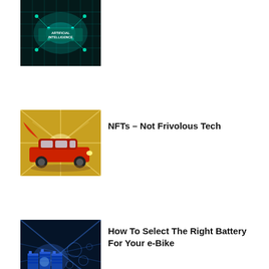[Figure (photo): Thumbnail image with teal/cyan AI circuit network background with text 'ARTIFICIAL INTELLIGENCE']
[Figure (photo): Thumbnail image of a red SUV/jeep driving on terrain with golden sunburst rays in background]
NFTs – Not Frivolous Tech
[Figure (photo): Thumbnail image of car batteries glowing blue with light rays and bubbles]
How To Select The Right Battery For Your e-Bike
NO COMMENTS
SHARE YOUR THOUGHTS & COMMENTS